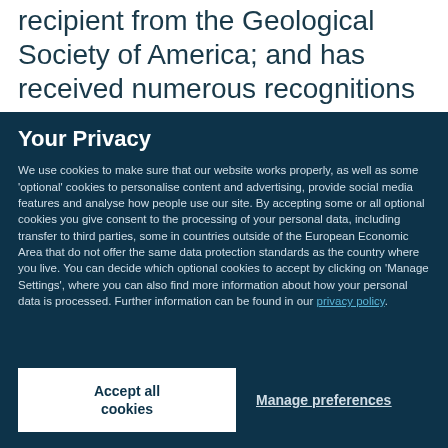recipient from the Geological Society of America; and has received numerous recognitions including the National Science
Your Privacy
We use cookies to make sure that our website works properly, as well as some 'optional' cookies to personalise content and advertising, provide social media features and analyse how people use our site. By accepting some or all optional cookies you give consent to the processing of your personal data, including transfer to third parties, some in countries outside of the European Economic Area that do not offer the same data protection standards as the country where you live. You can decide which optional cookies to accept by clicking on 'Manage Settings', where you can also find more information about how your personal data is processed. Further information can be found in our privacy policy.
Accept all cookies
Manage preferences